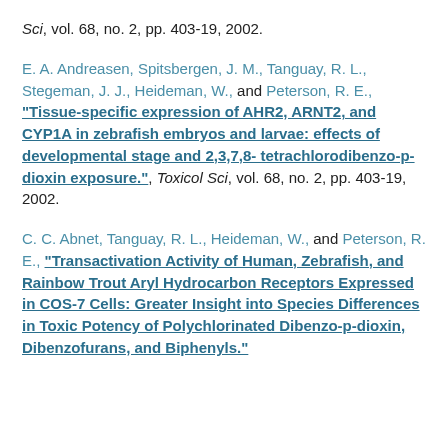Sci, vol. 68, no. 2, pp. 403-19, 2002.
E. A. Andreasen, Spitsbergen, J. M., Tanguay, R. L., Stegeman, J. J., Heideman, W., and Peterson, R. E., "Tissue-specific expression of AHR2, ARNT2, and CYP1A in zebrafish embryos and larvae: effects of developmental stage and 2,3,7,8-tetrachlorodibenzo-p-dioxin exposure.", Toxicol Sci, vol. 68, no. 2, pp. 403-19, 2002.
C. C. Abnet, Tanguay, R. L., Heideman, W., and Peterson, R. E., "Transactivation Activity of Human, Zebrafish, and Rainbow Trout Aryl Hydrocarbon Receptors Expressed in COS-7 Cells: Greater Insight into Species Differences in Toxic Potency of Polychlorinated Dibenzo-p-dioxin, Dibenzofurans, and Biphenyls."